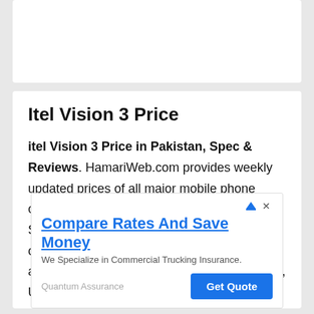Itel Vision 3 Price
itel Vision 3 Price in Pakistan, Spec & Reviews. HamariWeb.com provides weekly updated prices of all major mobile phone companies including Nokia Mobile Phones, Samsung, Motorola, LG Phones and others operating in Pakistan. These mobiles are available in warranty of Mobile Zone Pakistan, United Mobile Pakistan, Advanced Telecom Pakistan and some other mobile companies.
[Figure (screenshot): Advertisement banner: Compare Rates And Save Money - We Specialize in Commercial Trucking Insurance. Quantum Assurance. Get Quote button.]